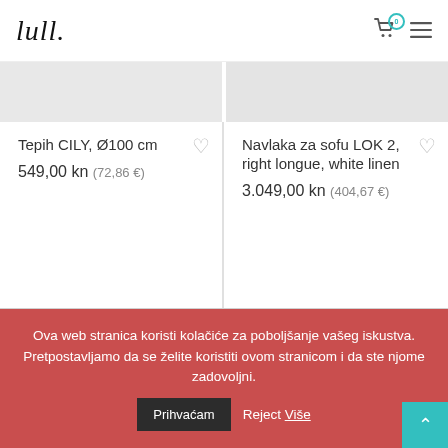lull. logo, cart icon with 0, hamburger menu
[Figure (photo): Two product image thumbnails side by side (light gray placeholders) — left for Tepih CILY rug, right for Navlaka za sofu sofa cover]
Tepih CILY, Ø100 cm
549,00 kn (72,86 €)
Navlaka za sofu LOK 2, right longue, white linen
3.049,00 kn (404,67 €)
Ova web stranica koristi kolačiće za poboljšanje vašeg iskustva. Pretpostavljamo da se želite koristiti ovom stranicom i da ste njome zadovoljni.
Prihvaćam
Reject Više